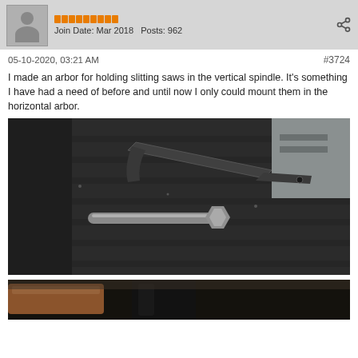Join Date: Mar 2018   Posts: 962
05-10-2020, 03:21 AM   #3724
I made an arbor for holding slitting saws in the vertical spindle. It's something I have had a need of before and until now I only could mount them in the horizontal arbor.
[Figure (photo): A metal arbor/tool component with an attached arm laying on a milling machine table with T-slots visible. A slitting saw arbor is shown along with a wrench-like tool.]
[Figure (photo): Partial view of machined metal parts, appears to be a close-up of cylindrical components on a machine.]